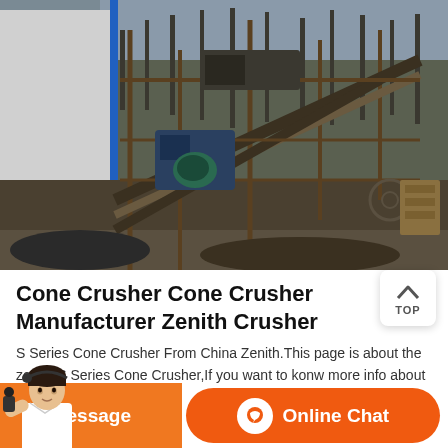[Figure (photo): Outdoor photo of industrial mining/crushing equipment with scaffolding and machinery, white building on the left with blue vertical stripe, bare trees in background, taken at a construction/mining site in China]
Cone Crusher Cone Crusher Manufacturer Zenith Crusher
S Series Cone Crusher From China Zenith.This page is about the zenith S Series Cone Crusher,If you want to konw more info about the zenith S Series Cone Crusher,or you want to buy the S Series Cone Crusher,or other crusher machines,you can contact zenith